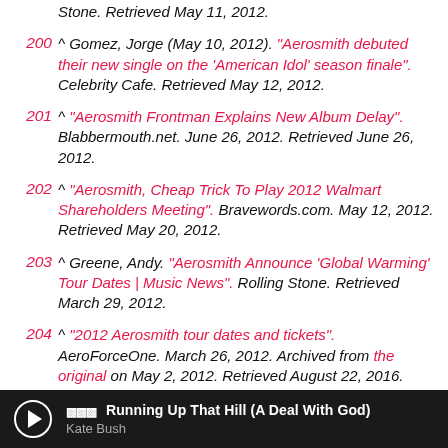^ Rolling Stone. Retrieved May 11, 2012.
200 ^ Gomez, Jorge (May 10, 2012). "Aerosmith debuted their new single on the 'American Idol' season finale". Celebrity Cafe. Retrieved May 12, 2012.
201 ^ "Aerosmith Frontman Explains New Album Delay". Blabbermouth.net. June 26, 2012. Retrieved June 26, 2012.
202 ^ "Aerosmith, Cheap Trick To Play 2012 Walmart Shareholders Meeting". Bravewords.com. May 12, 2012. Retrieved May 20, 2012.
203 ^ Greene, Andy. "Aerosmith Announce 'Global Warming' Tour Dates | Music News". Rolling Stone. Retrieved March 29, 2012.
204 ^ "2012 Aerosmith tour dates and tickets". AeroForceOne. March 26, 2012. Archived from the original on May 2, 2012. Retrieved August 22, 2016.
205 ^ "Aerosmith Interview on 'Idol' Finale | Aerosmith News". AeroForceOne. Archived from the original on
Running Up That Hill (A Deal With God) — Kate Bush